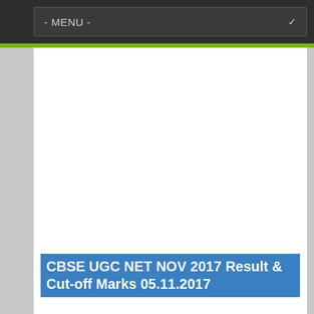- MENU -
CBSE UGC NET NOV 2017 Result & Cut-off Marks 05.11.2017
UGC NET NOV 2017 Result and Cut-off Marks are available now to download for the exam held on 5th November, 2017.